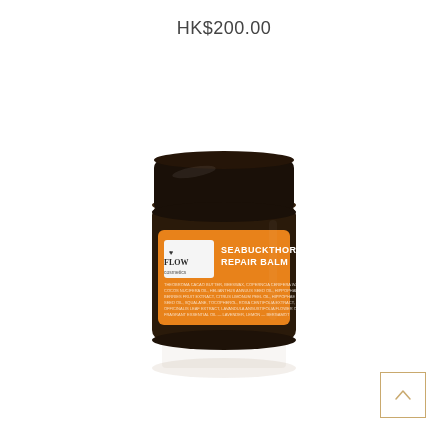HK$200.00
[Figure (photo): A dark amber glass jar of Flow Cosmetics Seabuckthorn Repair Balm with an orange label and black lid, shown with a faint reflection below it.]